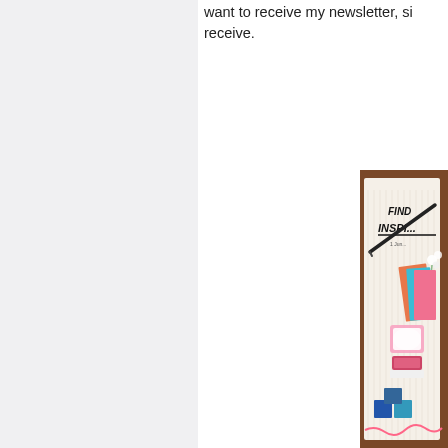want to receive my newsletter, si receive.
[Figure (photo): Photograph of a crafting/stationery booklet or catalogue titled 'FIND INSPI...' on a wooden table surface, with a black pen, colorful paper folders (orange, teal, pink), a small glowing pink stamp pad, blue square embellishments, and white flowers visible.]